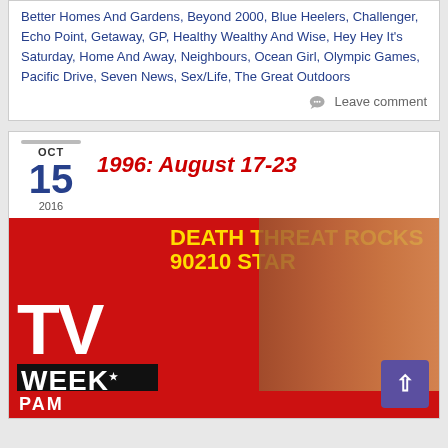1996: A Current Affair, Australia's Funniest Home Video Show, Better Homes And Gardens, Beyond 2000, Blue Heelers, Challenger, Echo Point, Getaway, GP, Healthy Wealthy And Wise, Hey Hey It's Saturday, Home And Away, Neighbours, Ocean Girl, Olympic Games, Pacific Drive, Seven News, Sex/Life, The Great Outdoors
Leave comment
OCT 15 2016
1996: August 17-23
[Figure (photo): TV Week magazine cover with red background showing 'DEATH THREAT ROCKS 90210 STAR' headline in yellow text, TV WEEK logo, The Entertainer! tagline, and a blonde woman's face. PAM text visible at bottom.]